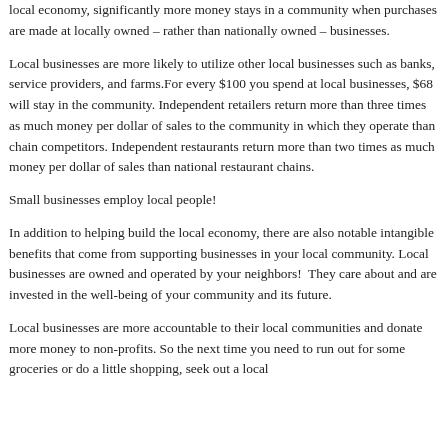local economy, significantly more money stays in a community when purchases are made at locally owned – rather than nationally owned – businesses.
Local businesses are more likely to utilize other local businesses such as banks, service providers, and farms.For every $100 you spend at local businesses, $68 will stay in the community. Independent retailers return more than three times as much money per dollar of sales to the community in which they operate than chain competitors. Independent restaurants return more than two times as much money per dollar of sales than national restaurant chains.
Small businesses employ local people!
In addition to helping build the local economy, there are also notable intangible benefits that come from supporting businesses in your local community. Local businesses are owned and operated by your neighbors!  They care about and are invested in the well-being of your community and its future.
Local businesses are more accountable to their local communities and donate more money to non-profits. So the next time you need to run out for some groceries or do a little shopping, seek out a local